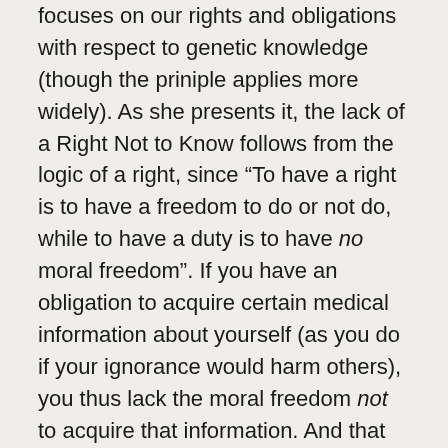focuses on our rights and obligations with respect to genetic knowledge (though the priniple applies more widely). As she presents it, the lack of a Right Not to Know follows from the logic of a right, since “To have a right is to have a freedom to do or not do, while to have a duty is to have no moral freedom”. If you have an obligation to acquire certain medical information about yourself (as you do if your ignorance would harm others), you thus lack the moral freedom not to acquire that information. And that is, in Rhodes’s thinking, logically equivalent to lacking a right not to have that information.
This argument, superficially persuasive though it might be, faces two problems. Firstly, it is not true that the “philosopher’s understanding” of rights and duties – as Rhodes puts it – is as she suggests. Although she acknowledges as much in a footnote,